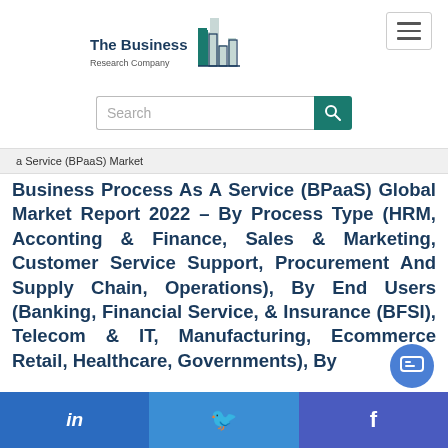[Figure (logo): The Business Research Company logo with bar chart icon]
[Figure (other): Hamburger navigation menu button]
[Figure (other): Search bar with teal search button]
a Service (BPaaS) Market
Business Process As A Service (BPaaS) Global Market Report 2022 – By Process Type (HRM, Acconting & Finance, Sales & Marketing, Customer Service Support, Procurement And Supply Chain, Operations), By End Users (Banking, Financial Service, & Insurance (BFSI), Telecom & IT, Manufacturing, Ecommerce Retail, Healthcare, Governments), By
[Figure (other): Social media share buttons: LinkedIn, Twitter, Facebook]
[Figure (other): Chat support bubble icon]